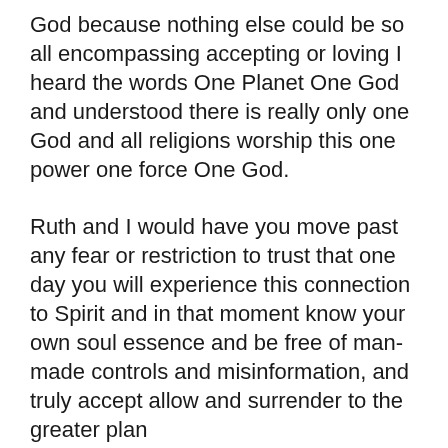God because nothing else could be so all encompassing accepting or loving I heard the words One Planet One God and understood there is really only one God and all religions worship this one power one force One God.
Ruth and I would have you move past any fear or restriction to trust that one day you will experience this connection to Spirit and in that moment know your own soul essence and be free of man- made controls and misinformation, and truly accept allow and surrender to the greater plan